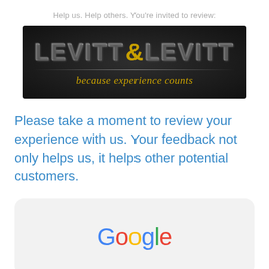Help us. Help others. You're invited to review:
[Figure (logo): Levitt & Levitt law firm logo on dark background. White bold text reading LEVITT&LEVITT with gold ampersand, gold italic tagline 'because experience counts']
Please take a moment to review your experience with us. Your feedback not only helps us, it helps other potential customers.
[Figure (logo): Google logo in multicolor letters (G-blue, o-red, o-yellow, g-blue, l-green, e-red) on a light gray rounded rectangle card]